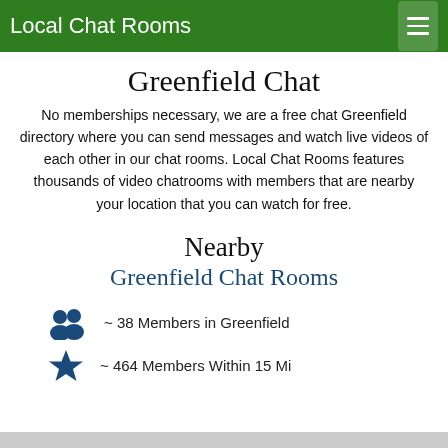Local Chat Rooms
Greenfield Chat
No memberships necessary, we are a free chat Greenfield directory where you can send messages and watch live videos of each other in our chat rooms. Local Chat Rooms features thousands of video chatrooms with members that are nearby your location that you can watch for free.
Nearby Greenfield Chat Rooms
~ 38 Members in Greenfield
~ 464 Members Within 15 Mi